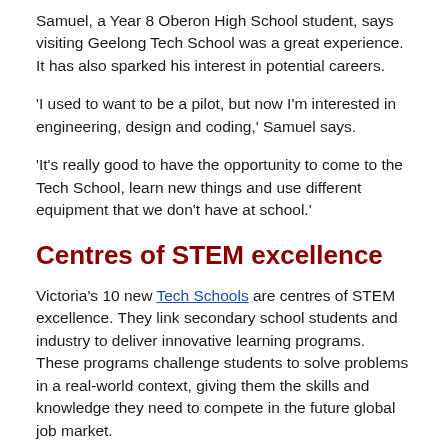Samuel, a Year 8 Oberon High School student, says visiting Geelong Tech School was a great experience. It has also sparked his interest in potential careers.
'I used to want to be a pilot, but now I'm interested in engineering, design and coding,' Samuel says.
'It's really good to have the opportunity to come to the Tech School, learn new things and use different equipment that we don't have at school.'
Centres of STEM excellence
Victoria's 10 new Tech Schools are centres of STEM excellence. They link secondary school students and industry to deliver innovative learning programs. These programs challenge students to solve problems in a real-world context, giving them the skills and knowledge they need to compete in the future global job market.